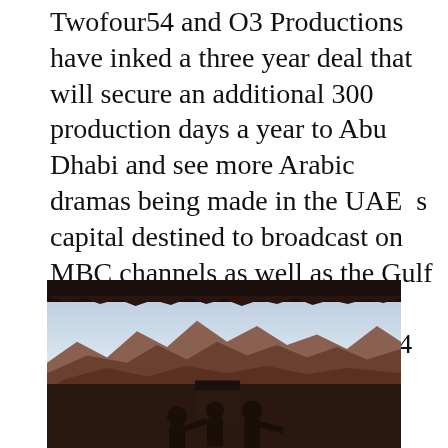Twofour54 and O3 Productions have inked a three year deal that will secure an additional 300 production days a year to Abu Dhabi and see more Arabic dramas being made in the UAE’s capital destined to broadcast on MBC channels as well as the Gulf and Arab drama market. The agreement, signed by twofour54 COO […]
[Figure (photo): Silhouetted film crew operating a camera on a tripod against a mountain landscape backdrop with a rocky overhang overhead, shot at dusk or dawn with a warm-toned sky.]